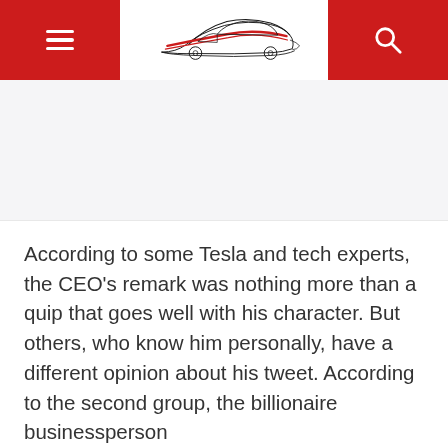Navigation header with hamburger menu, car logo, and search icon
[Figure (illustration): Advertisement or blank white/gray space below the header navigation bar]
According to some Tesla and tech experts, the CEO's remark was nothing more than a quip that goes well with his character. But others, who know him personally, have a different opinion about his tweet. According to the second group, the billionaire businessperson